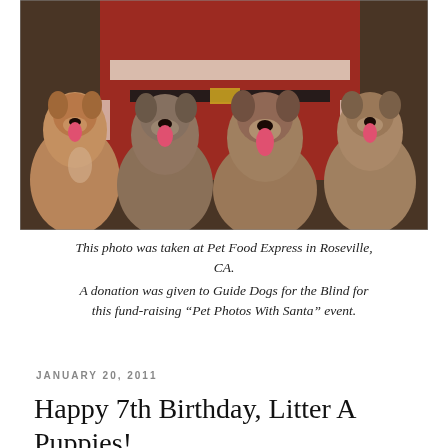[Figure (photo): Four large tan/brindle dogs (pit bull type) sitting together in a row with a person dressed as Santa Claus behind them. The photo was taken at Pet Food Express in Roseville, CA.]
This photo was taken at Pet Food Express in Roseville, CA.
A donation was given to Guide Dogs for the Blind for this fund-raising “Pet Photos With Santa” event.
JANUARY 20, 2011
Happy 7th Birthday, Litter A Puppies!